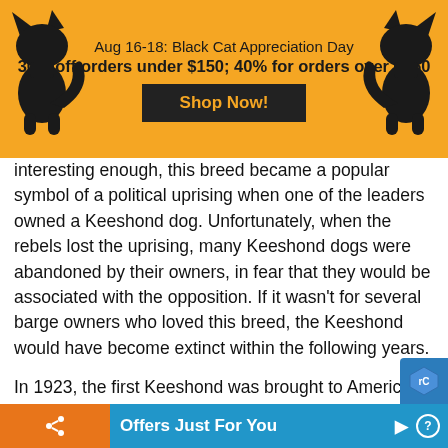Aug 16-18: Black Cat Appreciation Day
30% off orders under $150; 40% for orders over $150
interesting enough, this breed became a popular symbol of a political uprising when one of the leaders owned a Keeshond dog. Unfortunately, when the rebels lost the uprising, many Keeshond dogs were abandoned by their owners, in fear that they would be associated with the opposition. If it wasn't for several barge owners who loved this breed, the Keeshond would have become extinct within the following years.
In 1923, the first Keeshond was brought to America. Within the next 10 years, this breed was recognized by the AKC as an official breed. Even though Keeshonds may not be very popular, they are Holland's nati…
Offers Just For You ▶